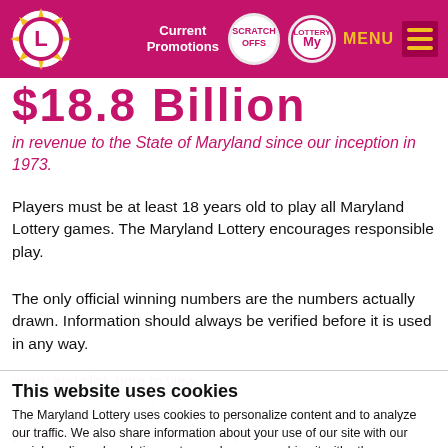Maryland Lottery navigation bar with logo, Current Promotions, Scratch Offs, My Rewards, Menu
$18.8 Billion
in revenue to the State of Maryland since our inception in 1973.
Players must be at least 18 years old to play all Maryland Lottery games. The Maryland Lottery encourages responsible play.
The only official winning numbers are the numbers actually drawn. Information should always be verified before it is used in any way.
This website uses cookies
The Maryland Lottery uses cookies to personalize content and to analyze our traffic. We also share information about your use of our site with our social media and analytics partners who may combine it with other information that you've provided to them or that they've collected from your use of their services. You consent to our cookies if you continue to use our website.
Use necessary cookies only | Allow all cookies
Show details